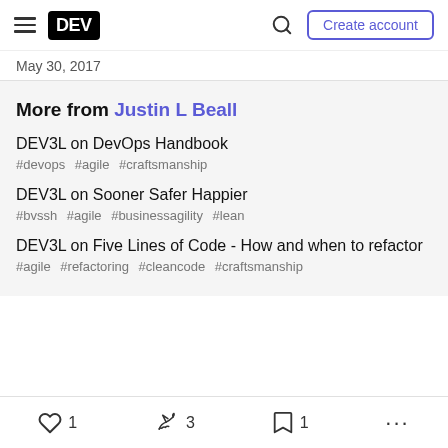DEV — Create account
May 30, 2017
More from Justin L Beall
DEV3L on DevOps Handbook
#devops #agile #craftsmanship
DEV3L on Sooner Safer Happier
#bvssh #agile #businessagility #lean
DEV3L on Five Lines of Code - How and when to refactor
#agile #refactoring #cleancode #craftsmanship
1  3  1  ...